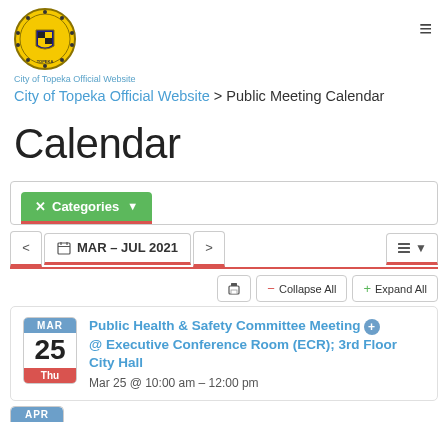[Figure (logo): City of Topeka official seal/logo — circular gold and black emblem]
City of Topeka Official Website > Public Meeting Calendar
Calendar
Categories (dropdown button)
MAR – JUL 2021 (navigation bar with back and forward arrows and list view button)
Print | Collapse All | Expand All
MAR 25 Thu — Public Health & Safety Committee Meeting @ Executive Conference Room (ECR); 3rd Floor City Hall
Mar 25 @ 10:00 am – 12:00 pm